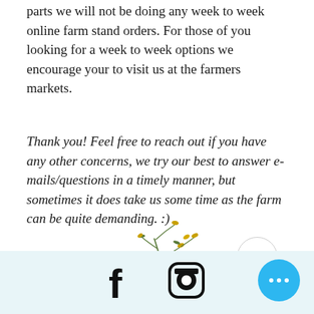parts we will not be doing any week to week online farm stand orders. For those of you looking for a week to week options we encourage your to visit us at the farmers markets.
Thank you! Feel free to reach out if you have any other concerns, we try our best to answer e-mails/questions in a timely manner, but sometimes it does take us some time as the farm can be quite demanding. :)
[Figure (illustration): A decorative botanical illustration of a slender plant stem with small yellow-gold buds and small green leaves]
[Figure (other): Scroll-to-top button: circular button with upward chevron arrow]
[Figure (other): Footer bar with Facebook icon, Instagram icon, and a blue circular more-options button with three dots]